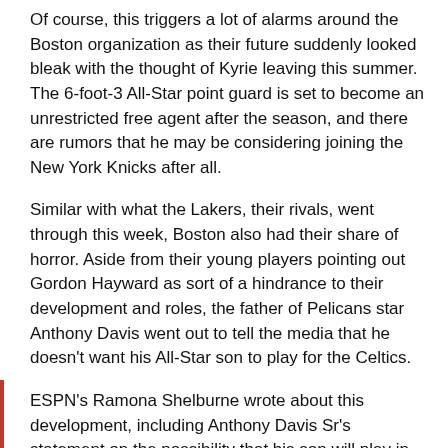Of course, this triggers a lot of alarms around the Boston organization as their future suddenly looked bleak with the thought of Kyrie leaving this summer. The 6-foot-3 All-Star point guard is set to become an unrestricted free agent after the season, and there are rumors that he may be considering joining the New York Knicks after all.
Similar with what the Lakers, their rivals, went through this week, Boston also had their share of horror. Aside from their young players pointing out Gordon Hayward as sort of a hindrance to their development and roles, the father of Pelicans star Anthony Davis went out to tell the media that he doesn't want his All-Star son to play for the Celtics.
ESPN's Ramona Shelburne wrote about this development, including Anthony Davis Sr's statement on the possibility that his son will play in Boston.